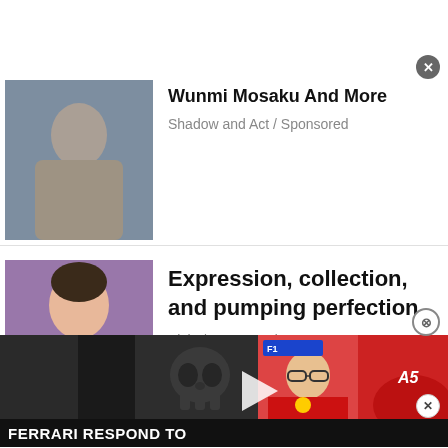[Figure (screenshot): Partial ad item — top portion cut off showing article about Wunmi Mosaku, with thumbnail image of a person in beige wrap]
Wunmi Mosaku And More
Shadow and Act / Sponsored
[Figure (photo): Woman in pink bra/lingerie top against purple background — Elvie sponsored ad]
Expression, collection, and pumping perfection
Elvie / Sponsored
[Figure (screenshot): Video overlay showing Ferrari F1 press conference and car, with FERRARI RESPOND TO ticker text and play button]
FERRARI RESPOND TO